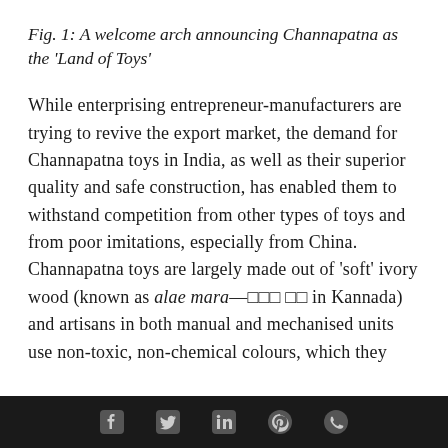Fig. 1: A welcome arch announcing Channapatna as the 'Land of Toys'
While enterprising entrepreneur-manufacturers are trying to revive the export market, the demand for Channapatna toys in India, as well as their superior quality and safe construction, has enabled them to withstand competition from other types of toys and from poor imitations, especially from China. Channapatna toys are largely made out of 'soft' ivory wood (known as alae mara—□□□ □□ in Kannada) and artisans in both manual and mechanised units use non-toxic, non-chemical colours, which they
social media icons: Facebook, Twitter, LinkedIn, Pinterest, WhatsApp